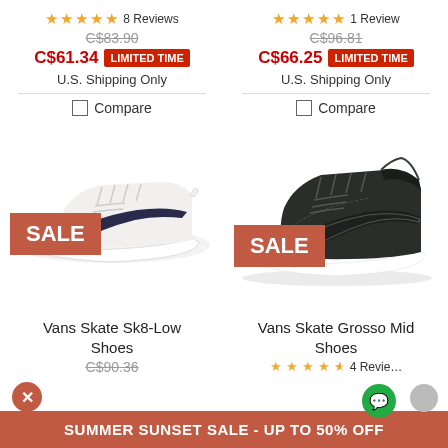★★★★★ 8 Reviews — C$83.90 (strikethrough) — C$61.34 LIMITED TIME — U.S. Shipping Only
★★★★★ 1 Review — C$96.81 (strikethrough) — C$66.25 LIMITED TIME — U.S. Shipping Only
☐ Compare
☐ Compare
[Figure (photo): White Vans Skate Sk8-Low Shoes with navy swoosh stripe, low-top sneaker on white background, SALE badge overlay]
[Figure (photo): Black/dark Vans Skate Grosso Mid Shoes, high-top skate shoe with white sole, SALE badge overlay]
Vans Skate Sk8-Low Shoes
C$90.36 (strikethrough)
Vans Skate Grosso Mid Shoes
★★★★½ 4 Reviews
SUMMER SUNSET SALE - UP TO 50% OFF